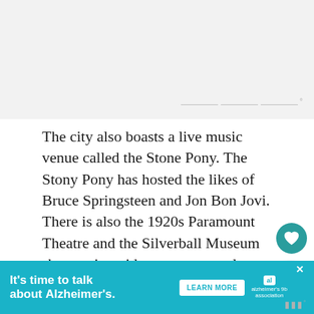[Figure (other): Gray placeholder/image area at top of page with watermark text]
The city also boasts a live music venue called the Stone Pony. The Stony Pony has hosted the likes of Bruce Springsteen and Jon Bon Jovi. There is also the 1920s Paramount Theatre and the Silverball Museum showcasing video games, arcade games, and pinball machines dating from the 1930s to the present day.
Here is a list of some of the best RV campgrounds NJ located in Asbury Park.
[Figure (other): What's Next promotional bar: '8 Best RV Campgroun...' with thumbnail image]
[Figure (other): Advertisement banner: It's time to talk about Alzheimer's. LEARN MORE — Alzheimer's Association]